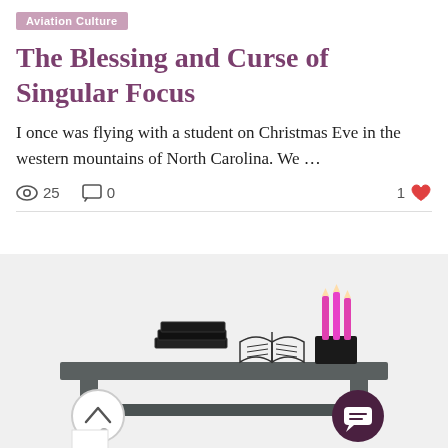Aviation Culture
The Blessing and Curse of Singular Focus
I once was flying with a student on Christmas Eve in the western mountains of North Carolina. We …
25 views  0 comments  1 like
[Figure (illustration): Illustration of a desk with stacked books, an open book, a pencil holder with pink pencils, all on a grey table surface against a light grey background. A scroll-up button (circle with up arrow) is in the bottom-left and a chat button (dark circle with speech bubble) is in the bottom-right.]